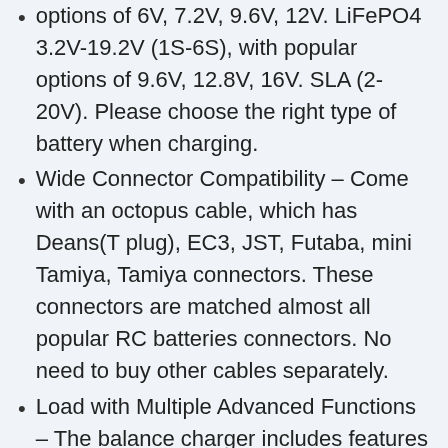options of 6V, 7.2V, 9.6V, 12V. LiFePO4 3.2V-19.2V (1S-6S), with popular options of 9.6V, 12.8V, 16V. SLA (2-20V). Please choose the right type of battery when charging.
Wide Connector Compatibility – Come with an octopus cable, which has Deans(T plug), EC3, JST, Futaba, mini Tamiya, Tamiya connectors. These connectors are matched almost all popular RC batteries connectors. No need to buy other cables separately.
Load with Multiple Advanced Functions – The balance charger includes features like LiPO、Li-ion、LiHv and LiFe balance charging, fast charging, cyclic charging, data storage, discharging, and much more extra function for all of your hobby battery packs.
High Quality & Safety – This charger...